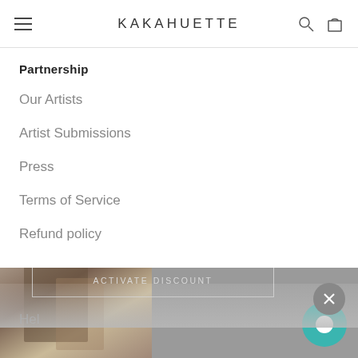KAKAHUETTE
Partnership
Our Artists
Artist Submissions
Press
Terms of Service
Refund policy
[Figure (screenshot): Website navigation menu overlay with partnership links, discount popup showing 10% OFF and ACTIVATE DISCOUNT button, and chat widget]
10% OFF
ACTIVATE DISCOUNT